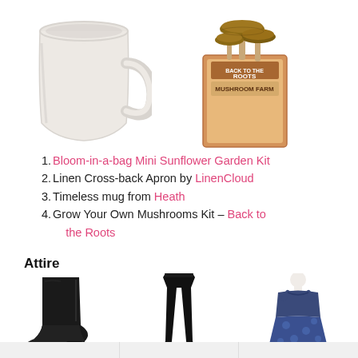[Figure (photo): White ceramic mug with handle on left side against white background]
[Figure (photo): Back to the Roots mushroom growing kit box with mushrooms growing out of it, on white background]
Bloom-in-a-bag Mini Sunflower Garden Kit
Linen Cross-back Apron by LinenCloud
Timeless mug from Heath
Grow Your Own Mushrooms Kit – Back to the Roots
Attire
[Figure (photo): Black leather ankle boot with block heel]
[Figure (photo): Person wearing black leggings standing on tiptoes]
[Figure (photo): Navy blue floral print sleeveless dress on mannequin]